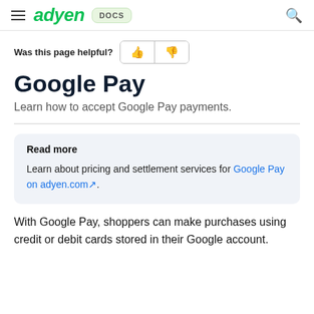adyen DOCS
Was this page helpful?
Google Pay
Learn how to accept Google Pay payments.
Read more
Learn about pricing and settlement services for Google Pay on adyen.com.
With Google Pay, shoppers can make purchases using credit or debit cards stored in their Google account.